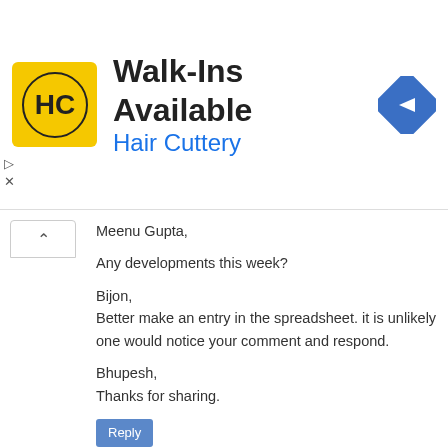[Figure (infographic): Hair Cuttery advertisement banner with logo, 'Walk-Ins Available' headline, 'Hair Cuttery' subtitle in blue, and a blue diamond navigation icon on the right]
Meenu Gupta,

Any developments this week?

Bijon,
Better make an entry in the spreadsheet. it is unlikely one would notice your comment and respond.

Bhupesh,
Thanks for sharing.
Reply
ANIL
SUNDAY, APRIL 05, 2009 6:47:00 PM
I am interested in buying a 3N/4D or 4N/5D. If anybody has plans of selling, I would be delighted if they can contact me at aniyabr@gmail.com